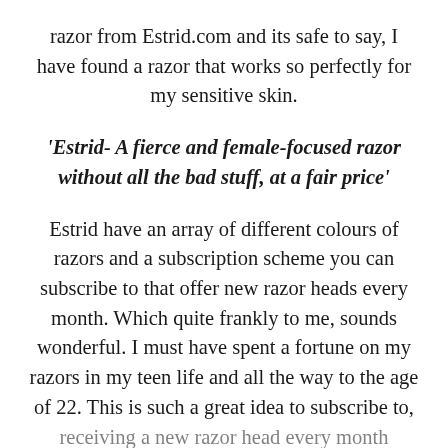razor from Estrid.com and its safe to say, I have found a razor that works so perfectly for my sensitive skin.
'Estrid- A fierce and female-focused razor without all the bad stuff, at a fair price'
Estrid have an array of different colours of razors and a subscription scheme you can subscribe to that offer new razor heads every month. Which quite frankly to me, sounds wonderful. I must have spent a fortune on my razors in my teen life and all the way to the age of 22. This is such a great idea to subscribe to, receiving a new razor head every month